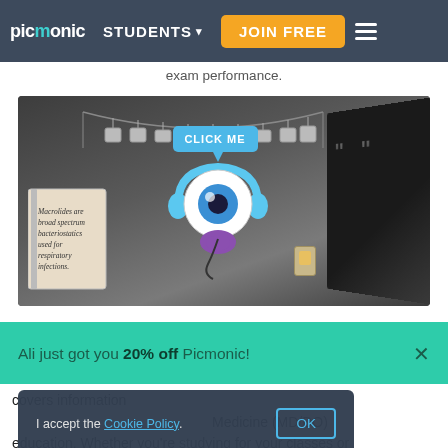picmonic | STUDENTS ▾ | JOIN FREE
exam performance.
[Figure (screenshot): Picmonic interactive learning scene: a dark room with an open book on the left showing text 'Macrolides are broad spectrum bacteriostatics used for respiratory infections.', a cartoon one-eyed character with headphones in the center, a 'CLICK ME' button above the character, a decorative banner hanging above, a dark panel on the right with quote marks, and a light switch on the wall.]
Ali just got you 20% off Picmonic!
I accept the Cookie Policy.
covers information Medicine (MD/DO) education. Whether you're studying for your classes or